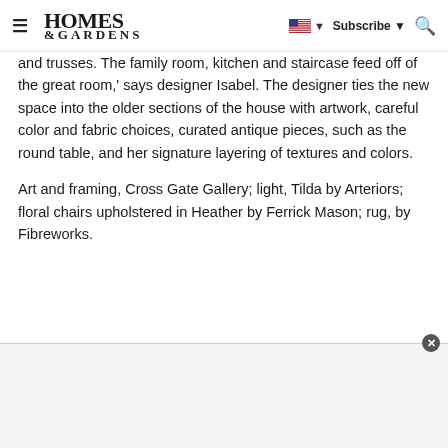≡ HOMES & GARDENS | Subscribe ▼ 🔍
and trusses. The family room, kitchen and staircase feed off of the great room,' says designer Isabel. The designer ties the new space into the older sections of the house with artwork, careful color and fabric choices, curated antique pieces, such as the round table, and her signature layering of textures and colors.
Art and framing, Cross Gate Gallery; light, Tilda by Arteriors; floral chairs upholstered in Heather by Ferrick Mason; rug, by Fibreworks.
[Figure (other): Advertisement banner at bottom of page, light gray background]